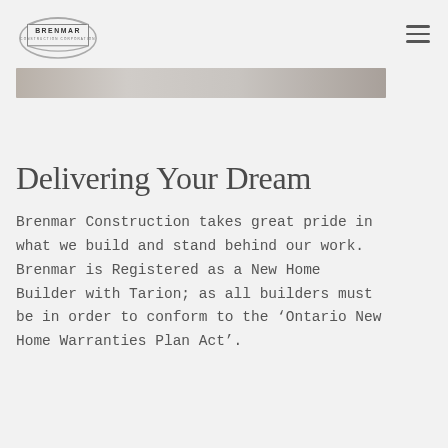[Figure (logo): Brenmar Construction Corporation logo with oval ring graphic and text]
[Figure (photo): Partial hero image strip showing a grey/silver metallic or construction surface]
Delivering Your Dream
Brenmar Construction takes great pride in what we build and stand behind our work. Brenmar is Registered as a New Home Builder with Tarion; as all builders must be in order to conform to the ‘Ontario New Home Warranties Plan Act’.